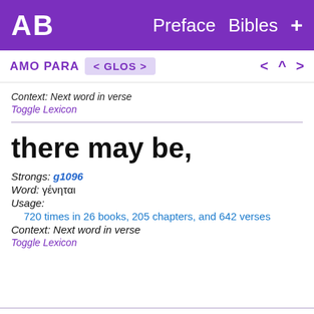AB  Preface  Bibles  +
AMO PARA  < GLOS >  < ^ >
Context:  Next word in verse
Toggle Lexicon
there may be,
Strongs:  g1096
Word:  γένηται
Usage:
720 times in 26 books, 205 chapters, and 642 verses
Context:  Next word in verse
Toggle Lexicon